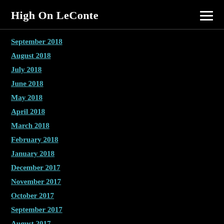High On LeConte
September 2018
August 2018
July 2018
June 2018
May 2018
April 2018
March 2018
February 2018
January 2018
December 2017
November 2017
October 2017
September 2017
August 2017
July 2017
June 2017